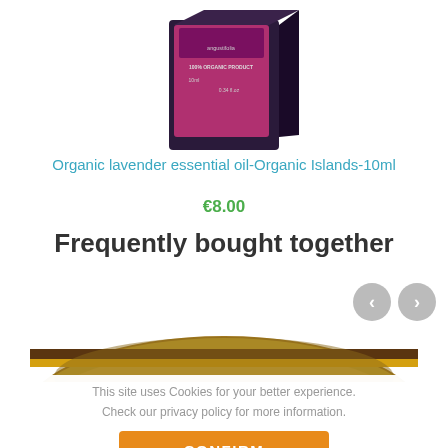[Figure (photo): Product image of a small dark box labeled 'Organic lavender essential oil', 100% Organic Product, 10ml, 0.34 fl.oz]
Organic lavender essential oil-Organic Islands-10ml
€8.00
Frequently bought together
[Figure (photo): Top-down partial view of a gold-colored jar lid with brown and yellow stripe]
This site uses Cookies for your better experience. Check our privacy policy for more information.
CONFIRM